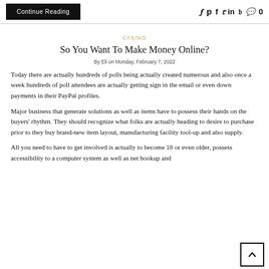Continue Reading
CASINO
So You Want To Make Money Online?
By Eli on Monday, February 7, 2022
Today there are actually hundreds of polls being actually created numerous and also once a week hundreds of poll attendees are actually getting sign in the email or even down payments in their PayPal profiles.
Major business that generate solutions as well as items have to possess their hands on the buyers' rhythm. They should recognize what folks are actually heading to desire to purchase prior to they buy brand-new item layout, manufacturing facility tool-up and also supply.
All you need to have to get involved is actually to become 18 or even older, possess accessibility to a computer system as well as net hookup and